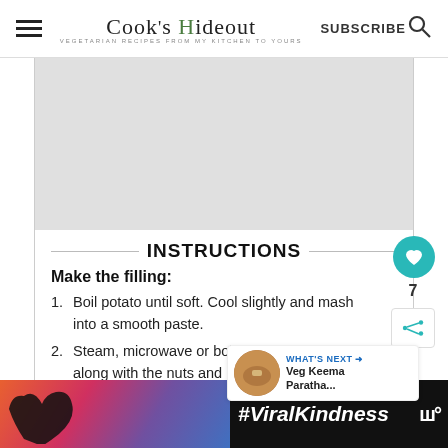Cook's Hideout — VEGETARIAN RECIPES FROM MY KITCHEN TO YOURS | SUBSCRIBE
[Figure (photo): Gray placeholder image area for recipe photo]
INSTRUCTIONS
Make the filling:
1. Boil potato until soft. Cool slightly and mash into a smooth paste.
2. Steam, microwave or boil the other along with the nuts and raisins with little
[Figure (photo): What's Next thumbnail: Veg Keema Paratha circular food photo]
[Figure (photo): #ViralKindness advertisement banner with heart silhouette on sunset background]